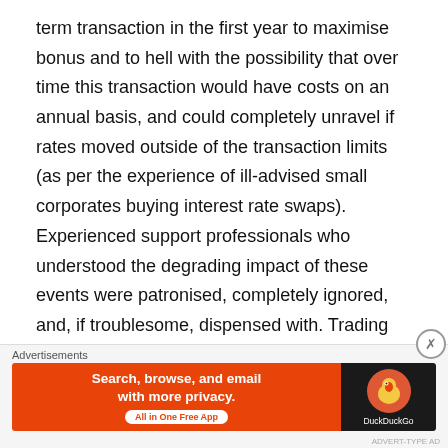term transaction in the first year to maximise bonus and to hell with the possibility that over time this transaction would have costs on an annual basis, and could completely unravel if rates moved outside of the transaction limits (as per the experience of ill-advised small corporates buying interest rate swaps). Experienced support professionals who understood the degrading impact of these events were patronised, completely ignored, and, if troublesome, dispensed with. Trading managers and their allies surrounded themselves with bright young people who did not have the experience to understand the consequences of what they were asked to do. The rot was setting in. As a Board member of CEDEL
[Figure (other): DuckDuckGo advertisement banner: orange left panel with text 'Search, browse, and email with more privacy. All in One Free App', dark right panel with DuckDuckGo logo duck icon and brand name.]